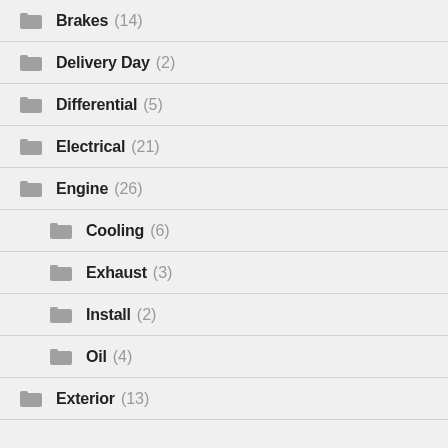Brakes (14)
Delivery Day (2)
Differential (5)
Electrical (21)
Engine (26)
Cooling (6)
Exhaust (3)
Install (2)
Oil (4)
Exterior (13)